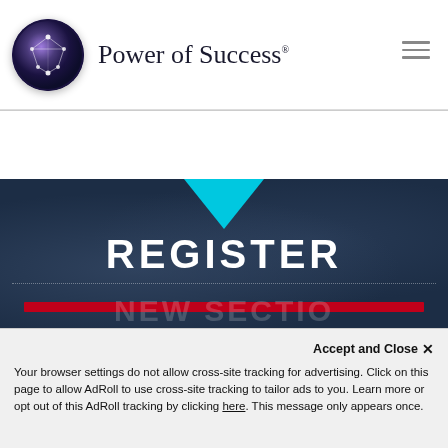[Figure (logo): Power of Success logo: circular globe icon with network nodes and the text 'Power of Success' beside it]
REGISTER
[Figure (illustration): Dark blue hero banner with cyan downward-pointing triangle at top center, 'REGISTER' text centered, dotted line, red bar, and partially visible large text at the bottom]
Accept and Close ×
Your browser settings do not allow cross-site tracking for advertising. Click on this page to allow AdRoll to use cross-site tracking to tailor ads to you. Learn more or opt out of this AdRoll tracking by clicking here. This message only appears once.